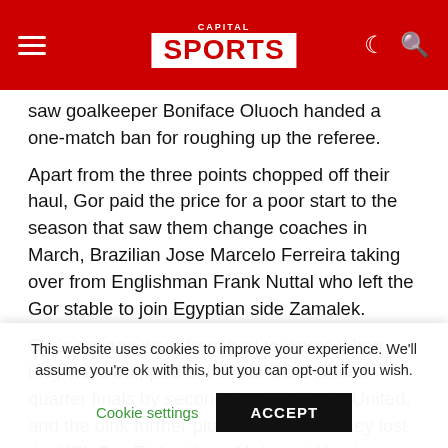Capital Sports
saw goalkeeper Boniface Oluoch handed a one-match ban for roughing up the referee.
Apart from the three points chopped off their haul, Gor paid the price for a poor start to the season that saw them change coaches in March, Brazilian Jose Marcelo Ferreira taking over from Englishman Frank Nuttal who left the Gor stable to join Egyptian side Zamalek.
Gor's season went from bad to worse when they were dumped out of the GOtv Shield quarter finals by second tier side Nzoia United, and the dink further plummeted when they lost the KPL Top Eight title to Muhoroni Youth
This website uses cookies to improve your experience. We'll assume you're ok with this, but you can opt-out if you wish.
Cookie settings   ACCEPT